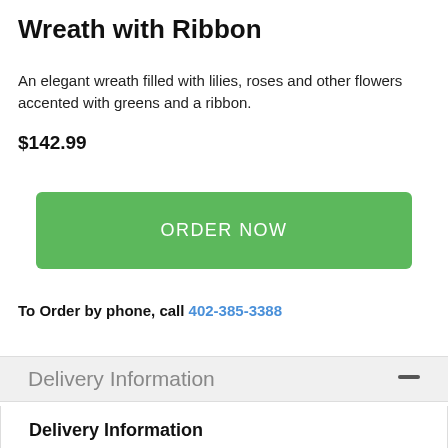Wreath with Ribbon
An elegant wreath filled with lilies, roses and other flowers accented with greens and a ribbon.
$142.99
ORDER NOW
To Order by phone, call 402-385-3388
Delivery Information
Delivery Information